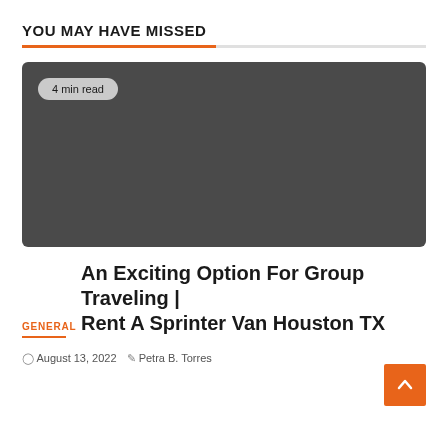YOU MAY HAVE MISSED
[Figure (photo): Dark gray placeholder image with a '4 min read' badge in the upper left corner]
GENERAL
An Exciting Option For Group Traveling | Rent A Sprinter Van Houston TX
August 13, 2022  Petra B. Torres